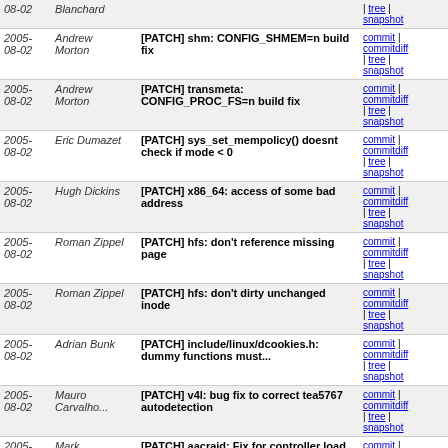| Date | Author | Commit Message | Links |
| --- | --- | --- | --- |
| 2005-
08-02 | Blanchard |  | | tree |
snapshot |
| 2005-
08-02 | Andrew
Morton | [PATCH] shm: CONFIG_SHMEM=n build fix | commit |
commitdiff
| tree |
snapshot |
| 2005-
08-02 | Andrew
Morton | [PATCH] transmeta: CONFIG_PROC_FS=n build fix | commit |
commitdiff
| tree |
snapshot |
| 2005-
08-02 | Eric Dumazet | [PATCH] sys_set_mempolicy() doesnt check if mode < 0 | commit |
commitdiff
| tree |
snapshot |
| 2005-
08-02 | Hugh Dickins | [PATCH] x86_64: access of some bad address | commit |
commitdiff
| tree |
snapshot |
| 2005-
08-02 | Roman Zippel | [PATCH] hfs: don't reference missing page | commit |
commitdiff
| tree |
snapshot |
| 2005-
08-02 | Roman Zippel | [PATCH] hfs: don't dirty unchanged inode | commit |
commitdiff
| tree |
snapshot |
| 2005-
08-02 | Adrian Bunk | [PATCH] include/linux/dcookies.h: dummy functions must... | commit |
commitdiff
| tree |
snapshot |
| 2005-
08-02 | Mauro
Carvalho... | [PATCH] v4l: bug fix to correct tea5767 autodetection | commit |
commitdiff
| tree |
snapshot |
| 2005-
08-02 | Mark
Haverkamp | [PATCH] aacraid: Fix for controller load based timeouts | commit |
commitdiff
| tree |
snapshot |
| 2005-
08-02 | Hirokazu
Takata | [PATCH] m32r: Fix local-timer event handling | commit |
commitdiff
| tree | |